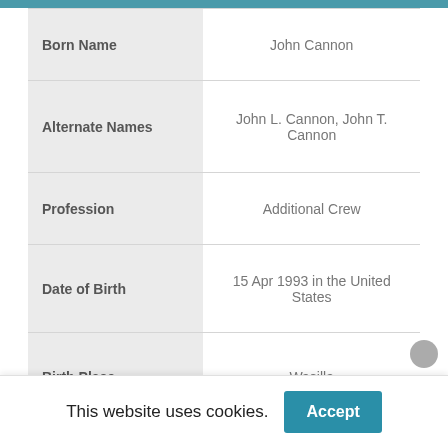| Field | Value |
| --- | --- |
| Born Name | John Cannon |
| Alternate Names | John L. Cannon, John T. Cannon |
| Profession | Additional Crew |
| Date of Birth | 15 Apr 1993 in the United States |
| Birth Place | Wasilla |
This website uses cookies.